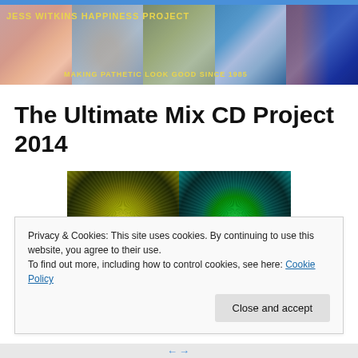[Figure (photo): Website header banner for Jess Witkins Happiness Project showing multiple photos of a person at different ages and in costumes, with yellow text overlay reading 'JESS WITKINS HAPPINESS PROJECT' and subtitle 'MAKING PATHETIC LOOK GOOD SINCE 1985']
The Ultimate Mix CD Project 2014
[Figure (photo): Two CD disc close-up images side by side, one tinted yellow-green and one tinted green, showing the reflective grooves of CDs]
Privacy & Cookies: This site uses cookies. By continuing to use this website, you agree to their use.
To find out more, including how to control cookies, see here: Cookie Policy
Close and accept